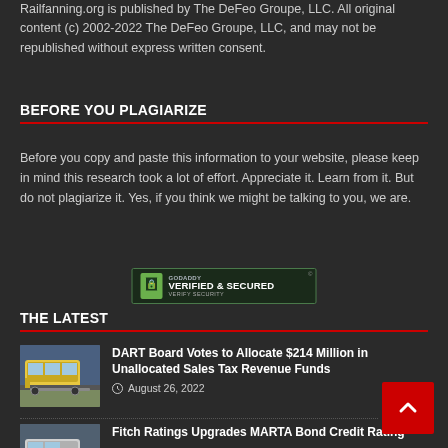Railfanning.org is published by The DeFeo Groupe, LLC. All original content (c) 2002-2022 The DeFeo Groupe, LLC, and may not be republished without express written consent.
BEFORE YOU PLAGIARIZE
Before you copy and paste this information to your website, please keep in mind this research took a lot of effort. Appreciate it. Learn from it. But do not plagiarize it. Yes, if you think we might be talking to you, we are.
[Figure (logo): GoDaddy Verified & Secured badge with lock icon and 'VERIFY SECURITY' text]
THE LATEST
[Figure (photo): Light rail train on tracks in a sunny urban/suburban environment]
DART Board Votes to Allocate $214 Million in Unallocated Sales Tax Revenue Funds
August 26, 2022
[Figure (photo): Rail vehicle, partially visible at bottom of page]
Fitch Ratings Upgrades MARTA Bond Credit Rating